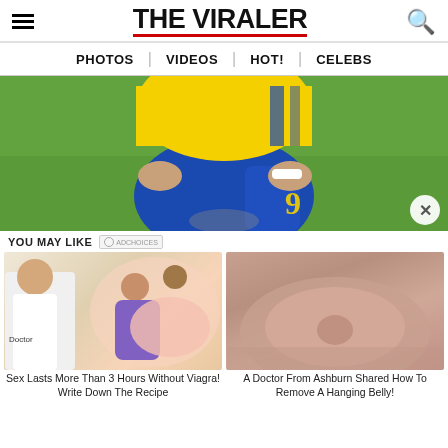THE VIRALER
PHOTOS | VIDEOS | HOT! | CELEBS
[Figure (photo): Soccer/football player wearing yellow and blue jersey with number 9, bending down on a green field]
YOU MAY LIKE
[Figure (illustration): Advertisement thumbnail: doctor and cartoon couple illustration for 'Sex Lasts More Than 3 Hours Without Viagra! Write Down The Recipe']
Sex Lasts More Than 3 Hours Without Viagra! Write Down The Recipe
[Figure (photo): Advertisement thumbnail: close-up of a person's midsection/belly]
A Doctor From Ashburn Shared How To Remove A Hanging Belly!